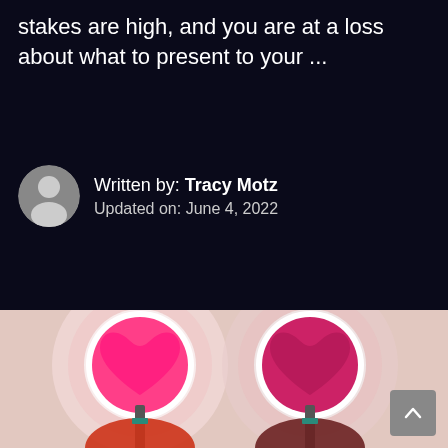stakes are high, and you are at a loss about what to present to your ...
Written by: Tracy Motz
Updated on: June 4, 2022
[Figure (photo): Two people holding large pink heart signs on sticks, with a pinkish-beige background. The hearts are in circular white-rimmed holders. The people's faces are obscured by the signs.]